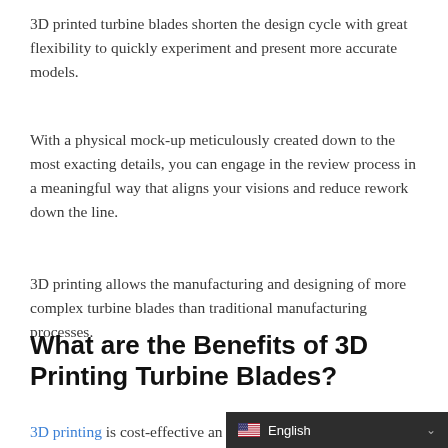3D printed turbine blades shorten the design cycle with great flexibility to quickly experiment and present more accurate models.
With a physical mock-up meticulously created down to the most exacting details, you can engage in the review process in a meaningful way that aligns your visions and reduce rework down the line.
3D printing allows the manufacturing and designing of more complex turbine blades than traditional manufacturing processes.
What are the Benefits of 3D Printing Turbine Blades?
3D printing is cost-effective an…